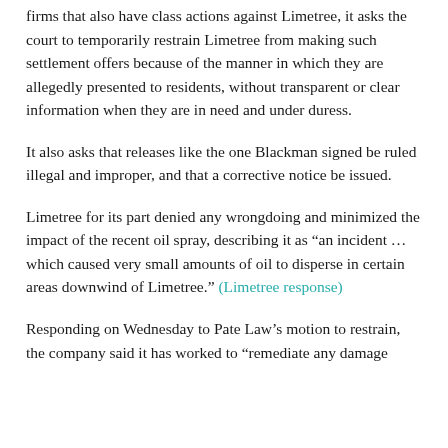firms that also have class actions against Limetree, it asks the court to temporarily restrain Limetree from making such settlement offers because of the manner in which they are allegedly presented to residents, without transparent or clear information when they are in need and under duress.
It also asks that releases like the one Blackman signed be ruled illegal and improper, and that a corrective notice be issued.
Limetree for its part denied any wrongdoing and minimized the impact of the recent oil spray, describing it as “an incident … which caused very small amounts of oil to disperse in certain areas downwind of Limetree.” (Limetree response)
Responding on Wednesday to Pate Law’s motion to restrain, the company said it has worked to “remediate any damage